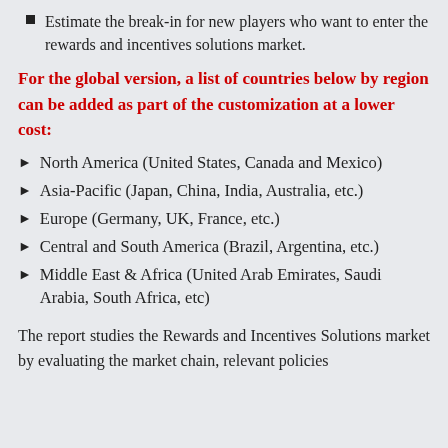Estimate the break-in for new players who want to enter the rewards and incentives solutions market.
For the global version, a list of countries below by region can be added as part of the customization at a lower cost:
North America (United States, Canada and Mexico)
Asia-Pacific (Japan, China, India, Australia, etc.)
Europe (Germany, UK, France, etc.)
Central and South America (Brazil, Argentina, etc.)
Middle East & Africa (United Arab Emirates, Saudi Arabia, South Africa, etc)
The report studies the Rewards and Incentives Solutions market by evaluating the market chain, relevant policies